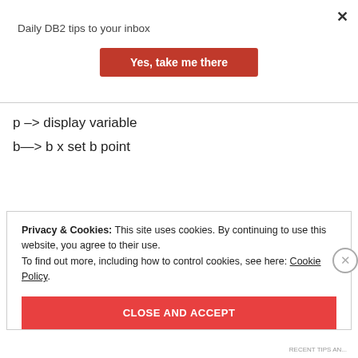Daily DB2 tips to your inbox
Yes, take me there
p –> display variable
b—> b x set b point
Privacy & Cookies: This site uses cookies. By continuing to use this website, you agree to their use. To find out more, including how to control cookies, see here: Cookie Policy
CLOSE AND ACCEPT
RECENT TIPS AND...